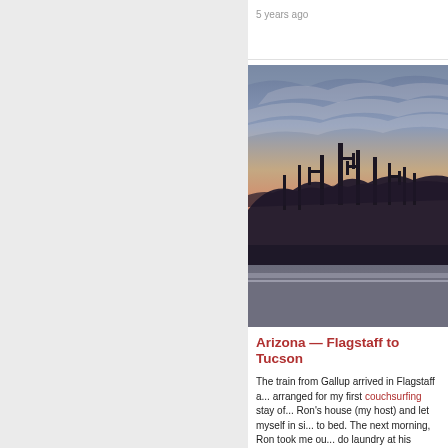5 years ago
[Figure (photo): Desert landscape at dusk with saguaro cacti silhouetted against a colorful sunset sky with clouds, and a road/guardrail in the foreground.]
Arizona — Flagstaff to Tucson
The train from Gallup arrived in Flagstaff a... arranged for my first couchsurfing stay of... Ron's house (my host) and let myself in si... to bed. The next morning, Ron took me ou... do laundry at his house while he was at w... first couchsurfing experience. I rolled out f...